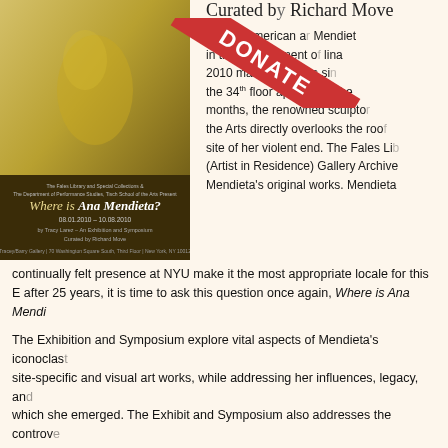[Figure (photo): Exhibition poster for 'Where is Ana Mendieta?' showing a golden/brown artistic image with text overlay on dark olive background. Text includes 'The Fales Library and Special Collections & The Department of Performance Studies, Tisch School of the Arts Present', 'Where is Ana Mendieta?', '08.01.2010 – 10.08.2010', 'by Tracy Larez – An Exhibition and Symposium', 'Curated by Richard Move', venue info.]
Curated by Richard Move
Cuban-American artist Ana Mendieta was central in the development of performance and Carolina. 2010 marks 25 years since she fell from the 34th floor apartment she shared...months, the renowned sculptor...the Arts directly overlooks the rooftop...site of her violent end. The Fales Library (Artist in Residence) Gallery Archive...Mendieta's original works. Mendieta's continually felt presence at NYU make it the most appropriate locale for this Exhibition. And after 25 years, it is time to ask this question once again, Where is Ana Mendieta?
The Exhibition and Symposium explore vital aspects of Mendieta's iconoclastic site-specific and visual art works, while addressing her influences, legacy, and the context from which she emerged. The Exhibit and Symposium also addresses the controversial circumstances of her death and what many believe to be Carl Andre's unjust acquittal of her murder.
The Exhibition: August 1 – October 8,  2010
The exhibition includes Mendieta's original works with archival documents from courtesy of the Fales Library, and the film BloodWork by Richard Move.
The Fales Library and Special Collections
Tracey/Barry Gallery